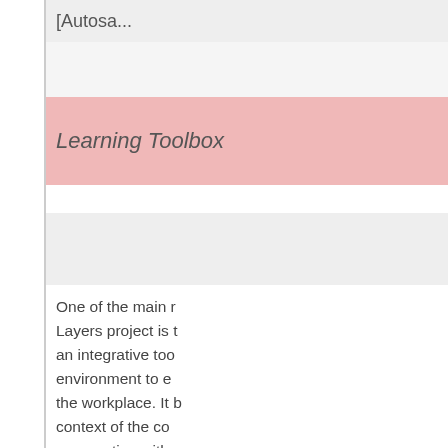[Autosa...
Learning Toolbox
One of the main results of the Learning Layers project is the development of an integrative tool that provides an environment to enhance learning at the workplace. It has been built in the context of the construction sector, in cooperation with the vocational training centre Bau-ABC in Germany. The Learning Toolbox supports informal learning in any context and is accessible across businesses and individual enterprises, large...